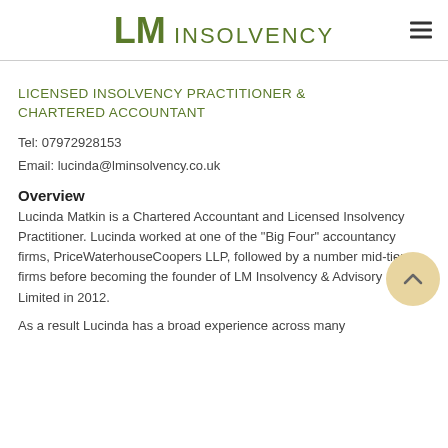LM INSOLVENCY
LICENSED INSOLVENCY PRACTITIONER & CHARTERED ACCOUNTANT
Tel: 07972928153
Email: lucinda@lminsolvency.co.uk
Overview
Lucinda Matkin is a Chartered Accountant and Licensed Insolvency Practitioner. Lucinda worked at one of the "Big Four" accountancy firms, PriceWaterhouseCoopers LLP, followed by a number mid-tier firms before becoming the founder of LM Insolvency & Advisory Limited in 2012.
As a result Lucinda has a broad experience across many